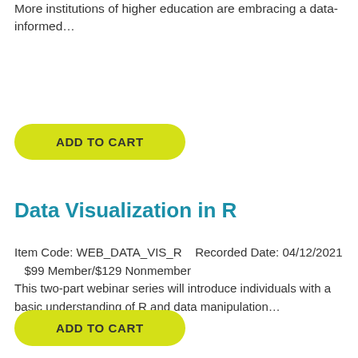More institutions of higher education are embracing a data-informed…
ADD TO CART
Data Visualization in R
Item Code: WEB_DATA_VIS_R    Recorded Date: 04/12/2021    $99 Member/$129 Nonmember
This two-part webinar series will introduce individuals with a basic understanding of R and data manipulation…
ADD TO CART